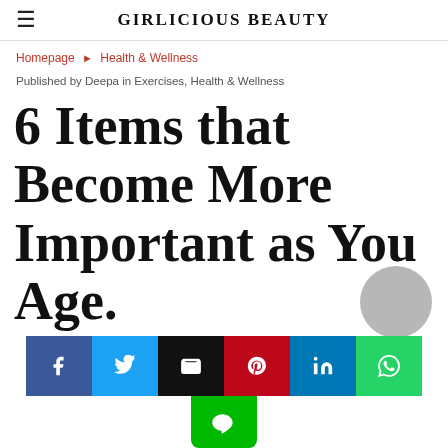GIRLICIOUS BEAUTY
Homepage ► Health & Wellness
Published by Deepa in Exercises, Health & Wellness
6 Items that Become More Important as You Age.